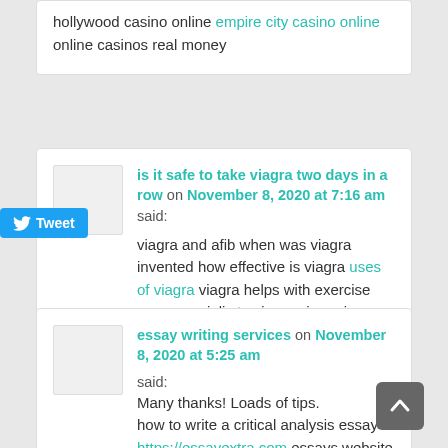hollywood casino online empire city casino online online casinos real money
is it safe to take viagra two days in a row on November 8, 2020 at 7:16 am said: viagra and afib when was viagra invented how effective is viagra uses of viagra viagra helps with exercise compare cialis to viagra viagra in walmart
essay writing services on November 8, 2020 at 5:25 am said: Many thanks! Loads of tips. how to write a critical analysis essay https://essayextra.com essays website